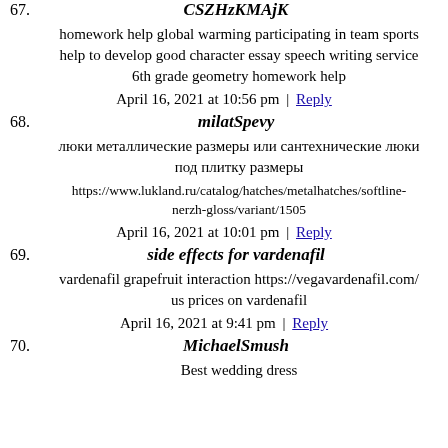67. CSZHzKMAjK
homework help global warming participating in team sports help to develop good character essay speech writing service 6th grade geometry homework help
April 16, 2021 at 10:56 pm | Reply
68. milatSpevy
люки металлические размеры или сантехнические люки под плитку размеры
https://www.lukland.ru/catalog/hatches/metalhatches/softline-nerzh-gloss/variant/1505
April 16, 2021 at 10:01 pm | Reply
69. side effects for vardenafil
vardenafil grapefruit interaction https://vegavardenafil.com/ us prices on vardenafil
April 16, 2021 at 9:41 pm | Reply
70. MichaelSmush
Best wedding dress